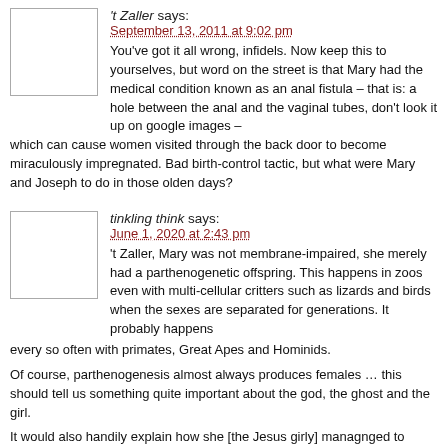't Zaller says:
September 13, 2011 at 9:02 pm
You've got it all wrong, infidels. Now keep this to yourselves, but word on the street is that Mary had the medical condition known as an anal fistula – that is: a hole between the anal and the vaginal tubes, don't look it up on google images – which can cause women visited through the back door to become miraculously impregnated. Bad birth-control tactic, but what were Mary and Joseph to do in those olden days?
tinkling think says:
June 1, 2020 at 2:43 pm
't Zaller, Mary was not membrane-impaired, she merely had a parthenogenetic offspring. This happens in zoos even with multi-cellular critters such as lizards and birds when the sexes are separated for generations. It probably happens every so often with primates, Great Apes and Hominids.
Of course, parthenogenesis almost always produces females … this should tell us something quite important about the god, the ghost and the girl.
It would also handily explain how she [the Jesus girly] managnged to attract and keep interested a dozen hard-working, macho males. Girlies have no problem gathering a bunch of loose workers. Indeed, their difficulty is often both getting rid of the unwanted spares and restraining the ones they keep.
Jesus was a girly. See the documentary "Dogma" for details.
tinkling think says:
June 1, 2020 at 2:45 pm